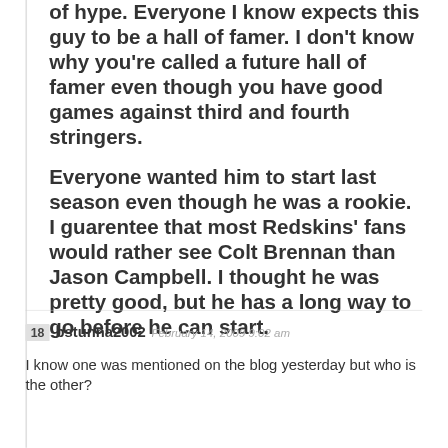of hype. Everyone I know expects this guy to be a hall of famer. I don't know why you're called a future hall of famer even though you have good games against third and fourth stringers.

Everyone wanted him to start last season even though he was a rookie. I guarentee that most Redskins' fans would rather see Colt Brennan than Jason Campbell. I thought he was pretty good, but he has a long way to go before he can start.
18  bstunna2002  February 14, 2009 9:02 am
I know one was mentioned on the blog yesterday but who is the other?